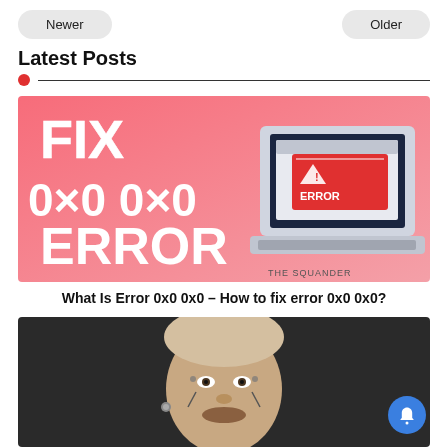Newer | Older
Latest Posts
[Figure (illustration): Promotional banner image with pink/red gradient background showing text 'FIX 0x0 0x0 ERROR' in bold white letters on the left, and an illustrated laptop with an ERROR dialog on the right. Watermark: THE SQUANDER.]
What Is Error 0x0 0x0 – How to fix error 0x0 0x0?
[Figure (photo): Photo of Post Malone, a man with face tattoos, shaved head, beard, wearing earrings against a dark background.]